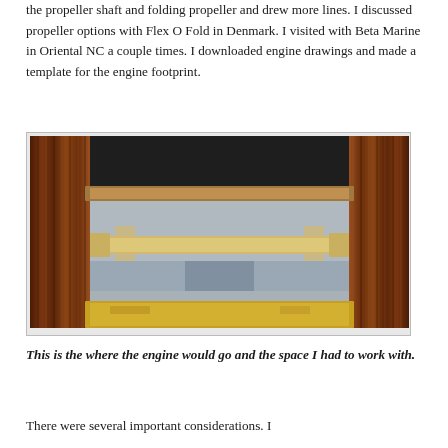the propeller shaft and folding propeller and drew more lines. I discussed propeller options with Flex O Fold in Denmark. I visited with Beta Marine in Oriental NC a couple times. I downloaded engine drawings and made a template for the engine footprint.
[Figure (photo): Interior view of a boat engine compartment showing wooden paneled walls on left and right, a horizontal wooden beam/template across the middle, a lower yellow wooden beam at the bottom, and the bilge/keel area below with gray fiberglass hull visible.]
This is the where the engine would go and the space I had to work with.
There were several important considerations. I